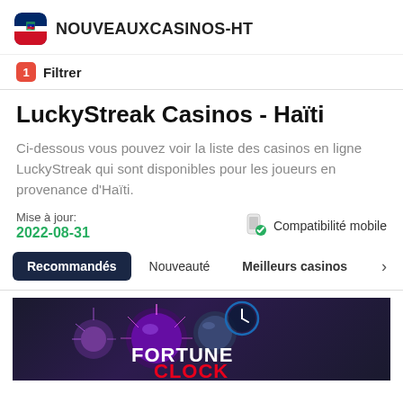NOUVEAUXCASINOS-HT
1 Filtrer
LuckyStreak Casinos - Haïti
Ci-dessous vous pouvez voir la liste des casinos en ligne LuckyStreak qui sont disponibles pour les joueurs en provenance d'Haïti.
Mise à jour: 2022-08-31  Compatibilité mobile
Recommandés  Nouveauté  Meilleurs casinos
[Figure (logo): Fortune Clock casino logo with colorful spheres and clock graphic on dark background]